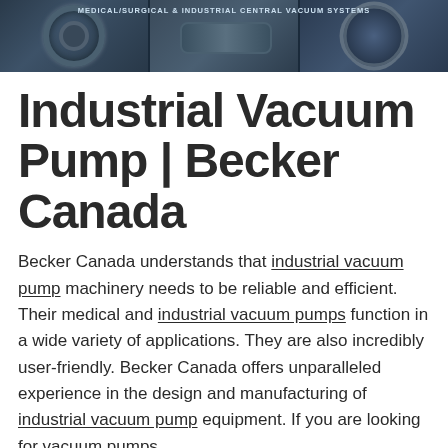[Figure (photo): Header banner showing industrial vacuum pump machinery components — three panels of mechanical equipment with dark blue-gray tones, labeled 'Medical/Surgical & Industrial Central Vacuum Systems']
Industrial Vacuum Pump | Becker Canada
Becker Canada understands that industrial vacuum pump machinery needs to be reliable and efficient. Their medical and industrial vacuum pumps function in a wide variety of applications. They are also incredibly user-friendly. Becker Canada offers unparalleled experience in the design and manufacturing of industrial vacuum pump equipment. If you are looking for vacuum pumps